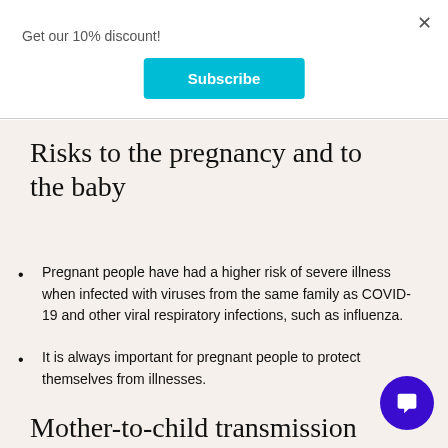Get our 10% discount!
[Figure (other): Subscribe button (cyan/teal colored button with white bold text 'Subscribe')]
Risks to the pregnancy and to the baby
Pregnant people have had a higher risk of severe illness when infected with viruses from the same family as COVID-19 and other viral respiratory infections, such as influenza.
It is always important for pregnant people to protect themselves from illnesses.
Mother-to-child transmission